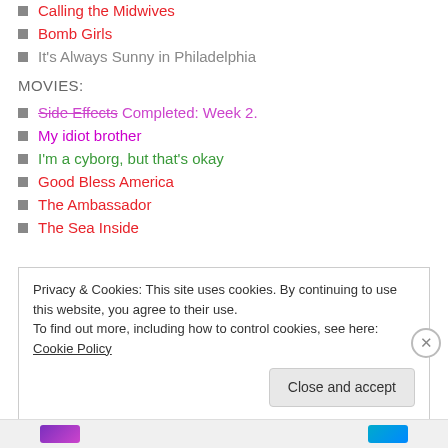Calling the Midwives
Bomb Girls
It's Always Sunny in Philadelphia
MOVIES:
Side Effects Completed: Week 2.
My idiot brother
I'm a cyborg, but that's okay
Good Bless America
The Ambassador
The Sea Inside
Privacy & Cookies: This site uses cookies. By continuing to use this website, you agree to their use. To find out more, including how to control cookies, see here: Cookie Policy